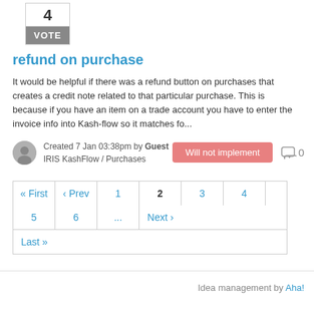[Figure (other): Vote box showing number 4 and VOTE button]
refund on purchase
It would be helpful if there was a refund button on purchases that creates a credit note related to that particular purchase. This is because if you have an item on a trade account you have to enter the invoice info into Kash-flow so it matches fo...
Created 7 Jan 03:38pm by Guest
IRIS KashFlow / Purchases
Will not implement
0
« First
‹ Prev
1
2
3
4
5
6
...
Next ›
Last »
Idea management by Aha!